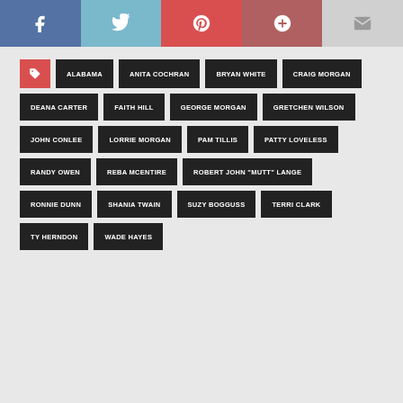[Figure (infographic): Social media share buttons: Facebook, Twitter, Pinterest, Google+, Email]
ALABAMA
ANITA COCHRAN
BRYAN WHITE
CRAIG MORGAN
DEANA CARTER
FAITH HILL
GEORGE MORGAN
GRETCHEN WILSON
JOHN CONLEE
LORRIE MORGAN
PAM TILLIS
PATTY LOVELESS
RANDY OWEN
REBA MCENTIRE
ROBERT JOHN "MUTT" LANGE
RONNIE DUNN
SHANIA TWAIN
SUZY BOGGUSS
TERRI CLARK
TY HERNDON
WADE HAYES